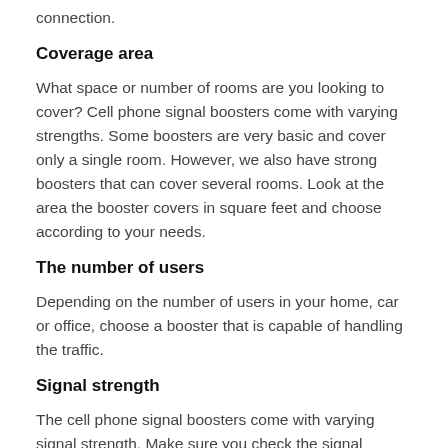connection.
Coverage area
What space or number of rooms are you looking to cover? Cell phone signal boosters come with varying strengths. Some boosters are very basic and cover only a single room. However, we also have strong boosters that can cover several rooms. Look at the area the booster covers in square feet and choose according to your needs.
The number of users
Depending on the number of users in your home, car or office, choose a booster that is capable of handling the traffic.
Signal strength
The cell phone signal boosters come with varying signal strength. Make sure you check the signal strength measured in decibols and choose one that matches your